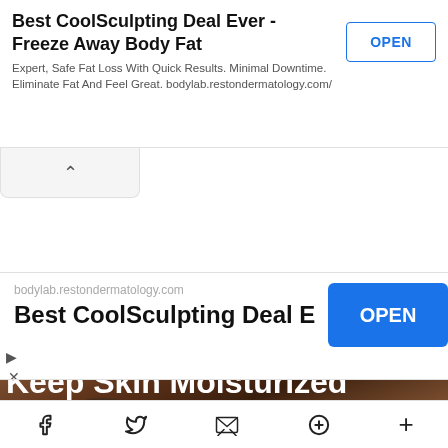[Figure (screenshot): Advertisement banner: Best CoolSculpting Deal Ever - Freeze Away Body Fat with OPEN button and description text]
[Figure (screenshot): Collapsed ad toggle bar with upward chevron arrow]
[Figure (screenshot): Second advertisement: bodylab.restondermatology.com - Best CoolSculpting Deal B... with blue OPEN button, play triangle and X icons]
[Figure (photo): Close-up photo of a person's eyes and forehead with dark skin, accompanied by HEALTH+BEAUTY category label and partial headline Keep Skin Moisturized]
Social share bar with Facebook, Twitter, email, Pinterest, and more icons